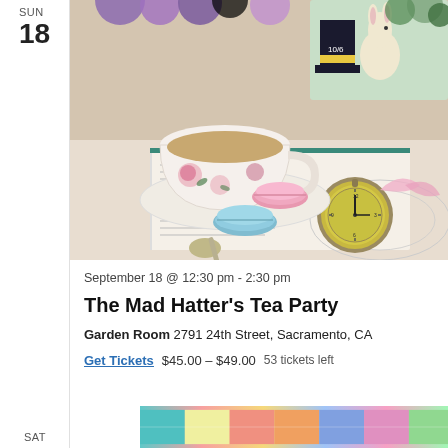SUN
18
[Figure (photo): A tea cup with floral pattern filled with tea, macarons in pink and blue, a silver spoon, an open book with Alice in Wonderland text, a pocket watch, and Alice in Wonderland themed card in background with purple flowers]
September 18 @ 12:30 pm - 2:30 pm
The Mad Hatter's Tea Party
Garden Room 2791 24th Street, Sacramento, CA
Get Tickets  $45.00 – $49.00  53 tickets left
SAT
[Figure (photo): Colorful partial image at bottom of page showing bright rainbow colored items, partially cropped]